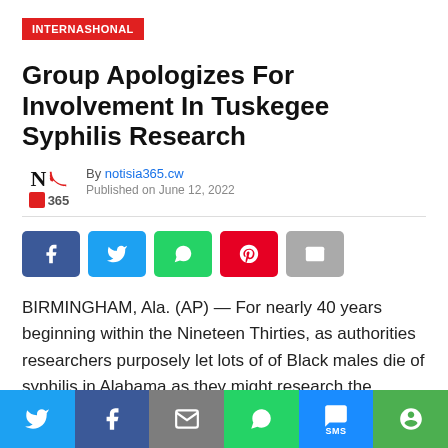INTERNASHONAL
Group Apologizes For Involvement In Tuskegee Syphilis Research
By notisia365.cw
Published on June 12, 2022
[Figure (other): Social share buttons: Facebook, Twitter, WhatsApp, Pinterest, Email]
BIRMINGHAM, Ala. (AP) — For nearly 40 years beginning within the Nineteen Thirties, as authorities researchers purposely let lots of of Black males die of syphilis in Alabama as they might research the illness, a basis in New York posted
[Figure (other): Bottom share bar with Twitter, Facebook, Email, WhatsApp, SMS, More buttons]